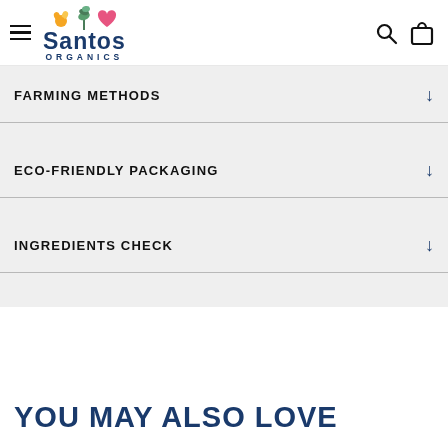Santos Organics
FARMING METHODS
ECO-FRIENDLY PACKAGING
INGREDIENTS CHECK
YOU MAY ALSO LOVE